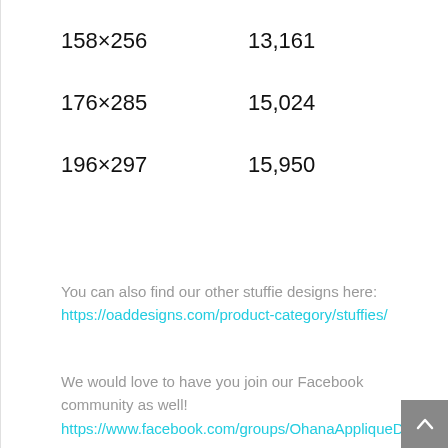| 158×256 | 13,161 |
| 176×285 | 15,024 |
| 196×297 | 15,950 |
You can also find our other stuffie designs here: https://oaddesigns.com/product-category/stuffies/
We would love to have you join our Facebook community as well! https://www.facebook.com/groups/OhanaAppliqueDesigns